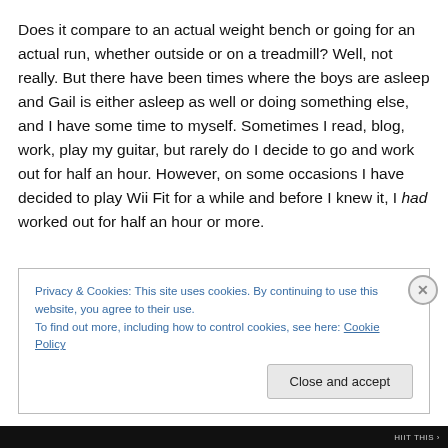Does it compare to an actual weight bench or going for an actual run, whether outside or on a treadmill? Well, not really. But there have been times where the boys are asleep and Gail is either asleep as well or doing something else, and I have some time to myself. Sometimes I read, blog, work, play my guitar, but rarely do I decide to go and work out for half an hour. However, on some occasions I have decided to play Wii Fit for a while and before I knew it, I had worked out for half an hour or more.
Privacy & Cookies: This site uses cookies. By continuing to use this website, you agree to their use.
To find out more, including how to control cookies, see here: Cookie Policy
Close and accept
HIIT THIS >